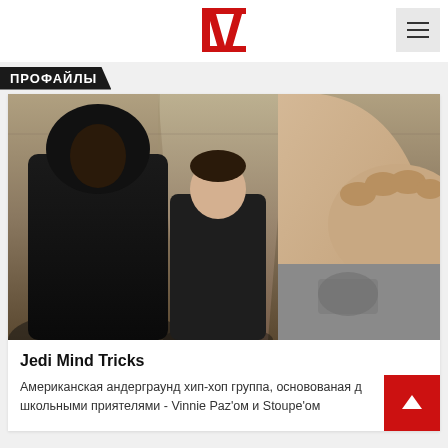IV
ПРОФАЙЛЫ
[Figure (photo): Three men standing in a hallway. Left figure wears a black hoodie, center figure in dark zip-up, right figure extends fist toward camera wearing grey printed shirt.]
Jedi Mind Tricks
Американская андерграунд хип-хоп группа, основованая д школьными приятелями - Vinnie Paz'ом и Stoupe'ом